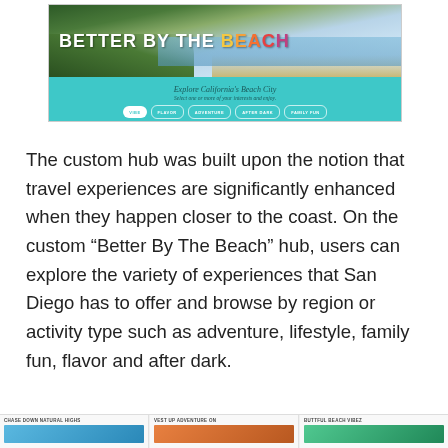[Figure (screenshot): Screenshot of 'Better By The Beach' website hub for San Diego tourism. Shows a hero image of a California beach/coastline with bold white text 'BETTER BY THE BEACH' where 'BEACH' is in multicolored letters (yellow to red/pink). Below the hero is a teal banner reading 'Explore California's Beach City' with subtitle 'Select one or more of your interests and enjoy.' and navigation buttons: VIBE (active/white), FLAVOR, ADVENTURE, AFTER DARK, FAMILY FUN.]
The custom hub was built upon the notion that travel experiences are significantly enhanced when they happen closer to the coast. On the custom "Better By The Beach" hub, users can explore the variety of experiences that San Diego has to offer and browse by region or activity type such as adventure, lifestyle, family fun, flavor and after dark.
[Figure (screenshot): Bottom strip showing three card thumbnails with labels: 'CHASE DOWN NATURAL HIGHS', 'VEST UP ADVENTURE ON', 'BUTTFUL BEACH VIBEZ' — partially visible at the bottom of the page.]